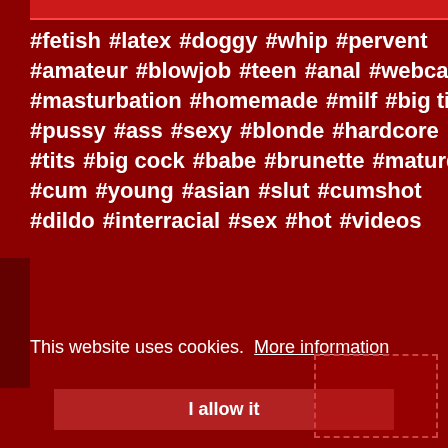#fetish  #latex  #doggy  #whip  #pervent
#amateur  #blowjob  #teen  #anal  #webcam
#masturbation  #homemade  #milf  #big tits
#pussy  #ass  #sexy  #blonde  #hardcore
#tits  #big cock  #babe  #brunette  #mature
#cum  #young  #asian  #slut  #cumshot
#dildo  #interracial  #sex  #hot  #videos
This website uses cookies.  More information
I allow it